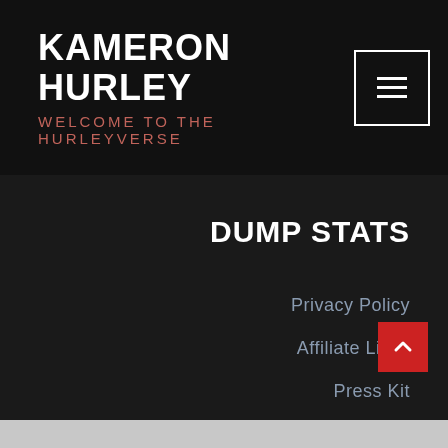KAMERON HURLEY WELCOME TO THE HURLEYVERSE
DUMP STATS
Privacy Policy
Affiliate Links
Press Kit
Donate